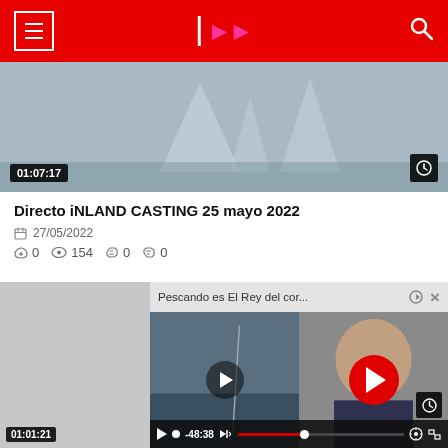Navigation header with menu, logo, and search
[Figure (screenshot): Video thumbnail showing sailing scene with duration badge 01:07:17]
Directo iNLAND CASTING 25 mayo 2022
27/05/2022
0  154  0  0
[Figure (screenshot): Second video card with popup player overlay showing 'Pescando es El Rey del cor...' with playback time -48:38]